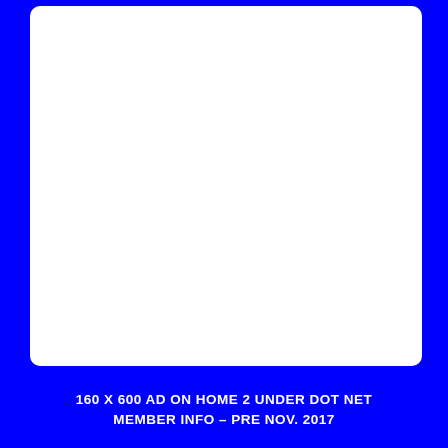[Figure (other): White rounded rectangle box with blue border on blue background — placeholder ad space]
160 X 600 AD ON HOME 2 UNDER DOT NET MEMBER INFO – PRE NOV. 2017